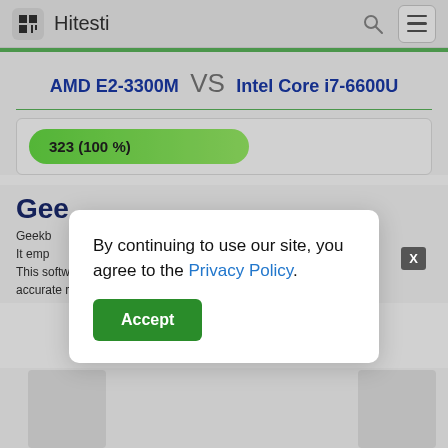Hitesti
AMD E2-3300M VS Intel Core i7-6600U
[Figure (infographic): Green progress bar showing score 323 (100%)]
Gee[kbench]
Geekb[ench] ...sors. It emp[loys] ...re. This software carries out the modeling of real scenarios to provide accurate results.
By continuing to use our site, you agree to the Privacy Policy. Accept